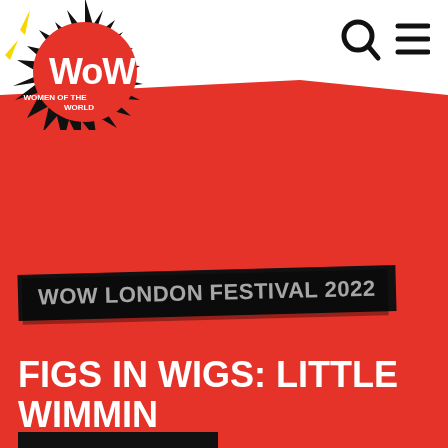[Figure (logo): WOW Women of the World festival logo - black starburst shape with 'WOW' in large white letters and 'WOMEN OF THE WORLD' below in smaller white text]
[Figure (infographic): Search icon (magnifying glass) and hamburger menu icon in top right corner]
[Figure (infographic): Large red background block covering most of the page with angled top edge]
WOW LONDON FESTIVAL 2022
FIGS IN WIGS: LITTLE WIMMIN